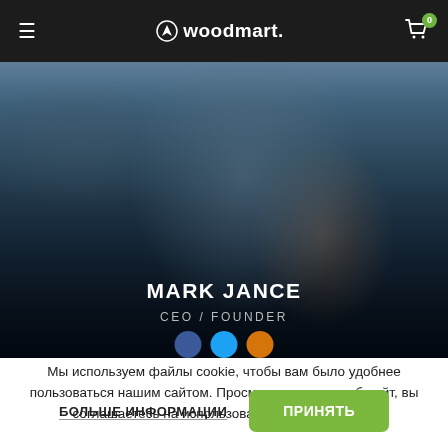woodmart. [hamburger menu] [cart 0]
[Figure (photo): Blurred dark photo of a person wearing dark clothing, used as a profile hero background. Text overlay shows MARK JANCE / CEO / FOUNDER with social media icon dots below.]
MARK JANCE
CEO / FOUNDER
Мы используем файлы cookie, чтобы вам было удобнее пользоваться нашим сайтом. Просматривая этот веб-сайт, вы соглашаетесь на использование файлов cookie.
БОЛЬШЕ ИНФОРМАЦИИ
ПРИНЯТЬ